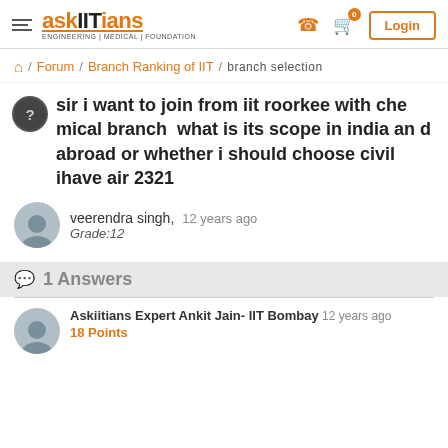askIITians ENGINEERING | MEDICAL | FOUNDATION
Forum / Branch Ranking of IIT / branch selection
sir i want to join from iit roorkee with chemical branch  what is its scope in india and abroad or whether i should choose civil ihave air 2321
veerendra singh,  12 years ago
Grade:12
1 Answers
Askiitians Expert Ankit Jain- IIT Bombay  12 years ago
18 Points